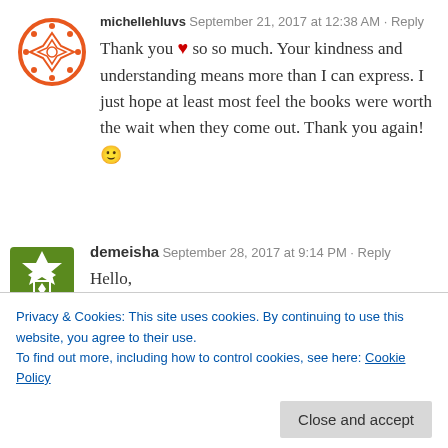[Figure (illustration): Avatar for michellehluvs: circular icon with orange border and white geometric snowflake/diamond pattern]
michellehluvs September 21, 2017 at 12:38 AM • Reply
Thank you ❤ so so much. Your kindness and understanding means more than I can express. I just hope at least most feel the books were worth the wait when they come out. Thank you again! 🙂
[Figure (illustration): Avatar for demeisha: square icon with green background and white geometric diamond/cross pattern]
demeisha September 28, 2017 at 9:14 PM • Reply
Hello,
I wanted to know if you ever go live on any social media platforms for like a sort of Q&A type of talk on Facebook 🙂 Here is the link:
Privacy & Cookies: This site uses cookies. By continuing to use this website, you agree to their use.
To find out more, including how to control cookies, see here: Cookie Policy
Close and accept